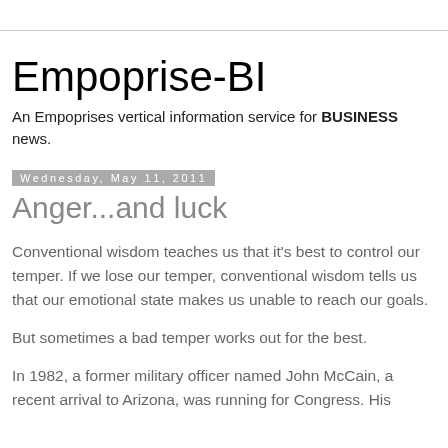Empoprise-BI
An Empoprises vertical information service for BUSINESS news.
Wednesday, May 11, 2011
Anger...and luck
Conventional wisdom teaches us that it's best to control our temper. If we lose our temper, conventional wisdom tells us that our emotional state makes us unable to reach our goals.
But sometimes a bad temper works out for the best.
In 1982, a former military officer named John McCain, a recent arrival to Arizona, was running for Congress. His